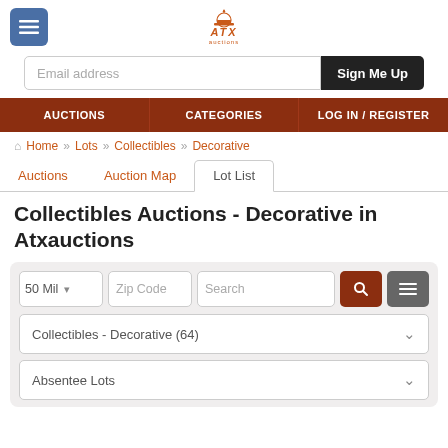ATX Auctions logo and menu
Email address  Sign Me Up
AUCTIONS   CATEGORIES   LOG IN / REGISTER
Home » Lots » Collectibles » Decorative
Auctions   Auction Map   Lot List
Collectibles Auctions - Decorative in Atxauctions
50 Mil   Zip Code   Search   [search button]   [filter button]
Collectibles - Decorative (64)
Absentee Lots